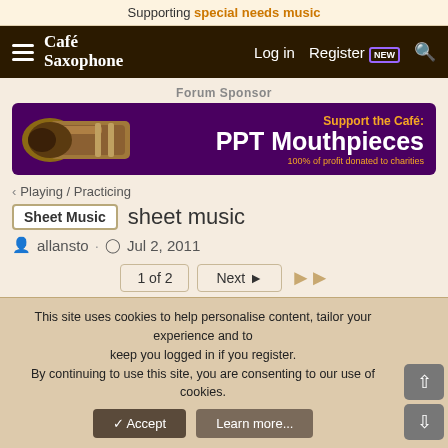Supporting special needs music
[Figure (screenshot): Cafe Saxophone navigation bar with hamburger menu, logo, Log in, Register (NEW badge), and search icon on dark brown background]
Forum Sponsor
[Figure (illustration): PPT Mouthpieces advertisement banner with saxophone mouthpiece image on purple background. Text: Support the Café: PPT Mouthpieces. 100% of profit donated to charities]
< Playing / Practicing
Sheet Music  sheet music
allansto · Jul 2, 2011
1 of 2  Next ▶  ▶▶
This site uses cookies to help personalise content, tailor your experience and to keep you logged in if you register. By continuing to use this site, you are consenting to our use of cookies.
✓ Accept    Learn more...